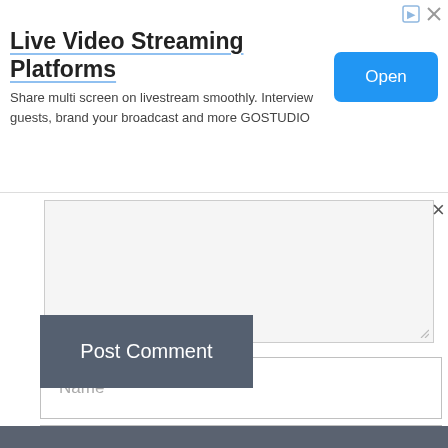[Figure (screenshot): Advertisement banner for 'Live Video Streaming Platforms' with title, description text, Open button, and ad icons]
Live Video Streaming Platforms
Share multi screen on livestream smoothly. Interview guests, brand your broadcast and more GOSTUDIO
[Figure (screenshot): Comment form textarea (empty, light gray background) with close X button and resize handle]
Name *
Email *
Post Comment